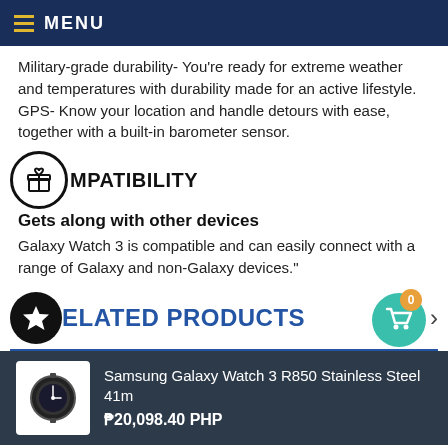MENU
Military-grade durability- You're ready for extreme weather and temperatures with durability made for an active lifestyle. GPS- Know your location and handle detours with ease, together with a built-in barometer sensor.
COMPATIBILITY
Gets along with other devices
Galaxy Watch 3 is compatible and can easily connect with a range of Galaxy and non-Galaxy devices."
RELATED PRODUCTS
Samsung Galaxy Watch 3 R850 Stainless Steel 41m
₱20,098.40 PHP